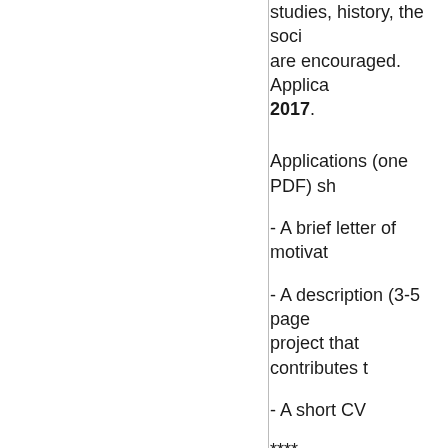studies, history, the soci- are encouraged. Applica- 2017.
Applications (one PDF) sh
- A brief letter of motivat
- A description (3-5 page project that contributes t
- A short CV
****
Please note that this C date. We have been s- Volkswagen Foundatio-